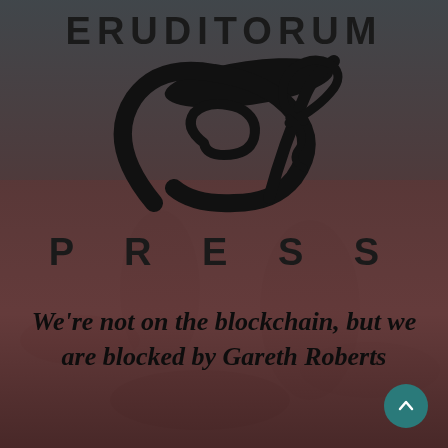[Figure (logo): Eruditorum Press logo: stylized cursive 'EP' monogram with the words ERUDITORUM above and PRESS below, displayed on a dark muted background photo of figures]
We're not on the blockchain, but we are blocked by Gareth Roberts